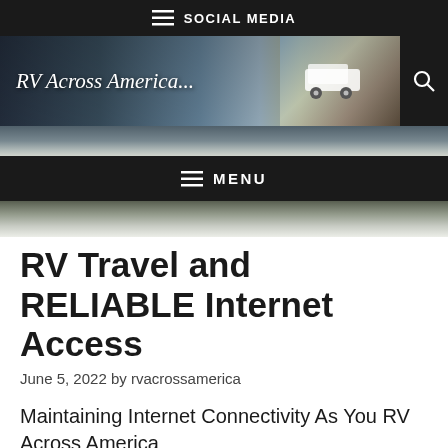SOCIAL MEDIA
[Figure (photo): Banner image showing an RV traveling across America with mountain landscape in background. Text reads 'RV Across America...']
MENU
RV Travel and RELIABLE Internet Access
June 5, 2022 by rvacrossamerica
Maintaining Internet Connectivity As You RV Across America